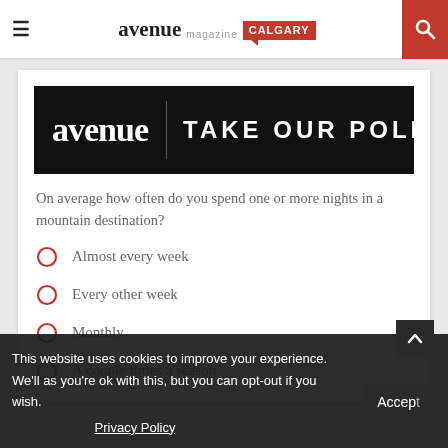avenue magazine CALGARY
[Figure (logo): Avenue Magazine Calgary logo with red Calgary badge and speech bubble]
[Figure (infographic): Black banner with 'avenue | TAKE OUR POLL' text]
On average how often do you spend one or more nights in a mountain destination?
Almost every week
Every other week
Monthly
A couple times a season
This website uses cookies to improve your experience. We'll as you're ok with this, but you can opt-out if you wish.
Privacy Policy